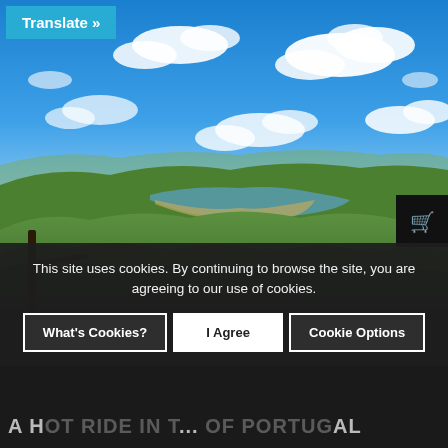[Figure (photo): Aerial landscape panorama of green valleys and hills with a river or reservoir visible below, under a bright blue sky with white clouds. Taken from a high vantage point in Portugal.]
Translate »
This site uses cookies. By continuing to browse the site, you are agreeing to our use of cookies.
What's Cookies?
I Agree
Cookie Options
A HOT RIDE IN T... OF PORTUGAL